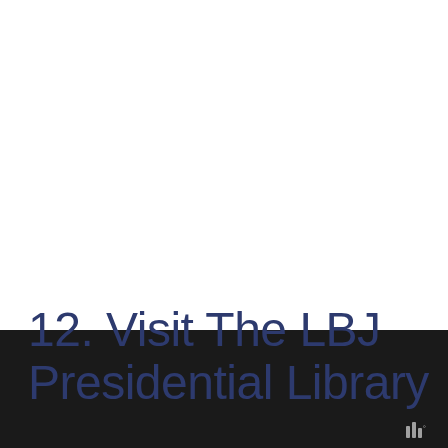12. Visit The LBJ Presidential Library
[Figure (logo): Small logo mark consisting of three vertical bars of varying heights with a degree symbol, in gray, positioned at bottom right on dark bar]